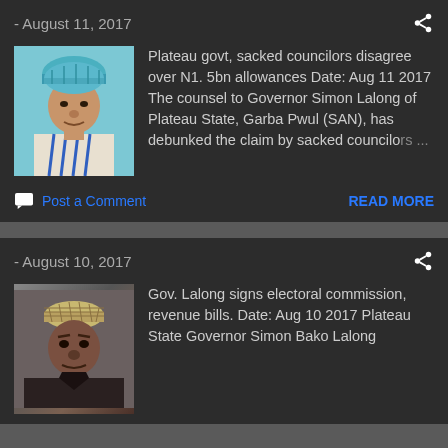- August 11, 2017
[Figure (photo): Portrait photo of a man wearing a blue traditional cap and white/blue traditional clothing]
Plateau govt, sacked councilors disagree over N1. 5bn allowances Date: Aug 11 2017 The counsel to Governor Simon Lalong of Plateau State, Garba Pwul (SAN), has debunked the claim by sacked councilors ...
Post a Comment
READ MORE
- August 10, 2017
[Figure (photo): Portrait photo of a man wearing a traditional woven cap and dark clothing - Governor Simon Bako Lalong]
Gov. Lalong signs electoral commission, revenue bills. Date: Aug 10 2017 Plateau State Governor Simon Bako Lalong